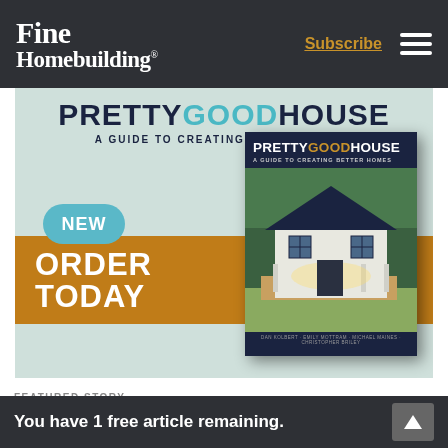Fine Homebuilding | Subscribe
[Figure (illustration): Advertisement for 'Pretty Good House: A Guide to Creating Better Homes' book. Light teal background with bold title text, a book cover image showing a white house, a 'NEW' bubble badge, and an orange 'ORDER TODAY' banner.]
FEATURED STORY
You have 1 free article remaining.